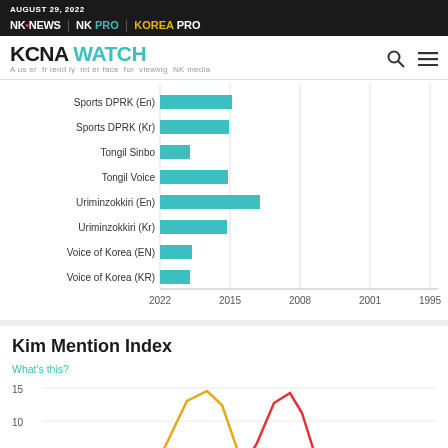AUGUST 29, 2022 | NK NEWS | NK PRO | KOREA PRO
KCNA WATCH – A user friendly interface for viewing NK media
[Figure (bar-chart): Media sources by year]
Kim Mention Index
What's this?
[Figure (line-chart): Line chart showing Kim Mention Index over time with orange and red lines, values visible up to ~10-11, y-axis shows 10 and 15]